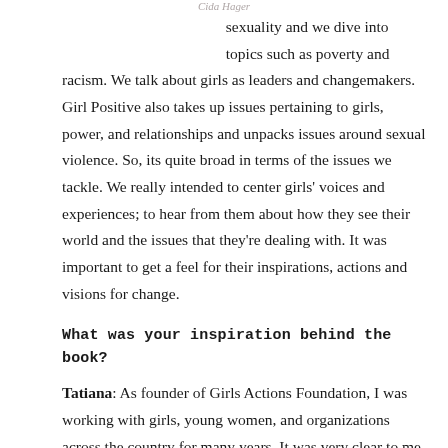Cida Hager
sexuality and we dive into topics such as poverty and racism. We talk about girls as leaders and changemakers. Girl Positive also takes up issues pertaining to girls, power, and relationships and unpacks issues around sexual violence. So, its quite broad in terms of the issues we tackle. We really intended to center girls' voices and experiences; to hear from them about how they see their world and the issues that they're dealing with. It was important to get a feel for their inspirations, actions and visions for change.
What was your inspiration behind the book?
Tatiana: As founder of Girls Actions Foundation, I was working with girls, young women, and organizations across the country for many years. It was very clear to me that the issues or the stories and the popular culture and the narratives about girls didn't line up with girls' realities. This misalignment was outdated. What we're doing in the book is re-framing the issues